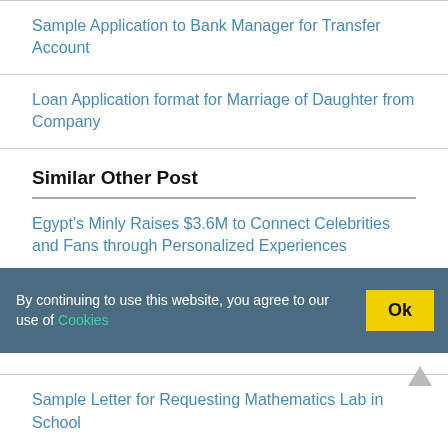Sample Application to Bank Manager for Transfer Account
Loan Application format for Marriage of Daughter from Company
Similar Other Post
Egypt's Minly Raises $3.6M to Connect Celebrities and Fans through Personalized Experiences
Apply for a Change of Course at the University Adult Education
Sample Letter for Requesting Mathematics Lab in School
By continuing to use this website, you agree to our use of Cookies